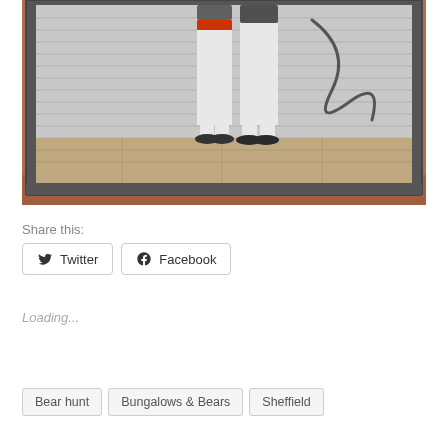[Figure (photo): Framed photograph on a brick wall showing two people standing in front of a shuttered metal door with graffiti. One person wears white pants and dark shoes; another wears an orange garment. The photo is displayed in a dark frame propped against a brick wall.]
Share this:
Twitter
Facebook
Loading...
Bear hunt
Bungalows & Bears
Sheffield